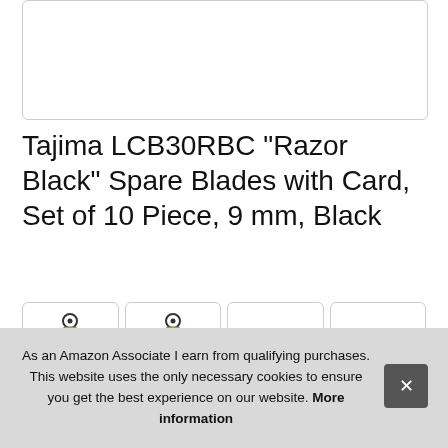[Figure (photo): Product image placeholder with rounded border, white background]
Tajima LCB30RBC "Razor Black" Spare Blades with Card, Set of 10 Piece, 9 mm, Black
[Figure (photo): Row of four product thumbnail images showing tape measure / blade tools]
Taji
As an Amazon Associate I earn from qualifying purchases. This website uses the only necessary cookies to ensure you get the best experience on our website. More information